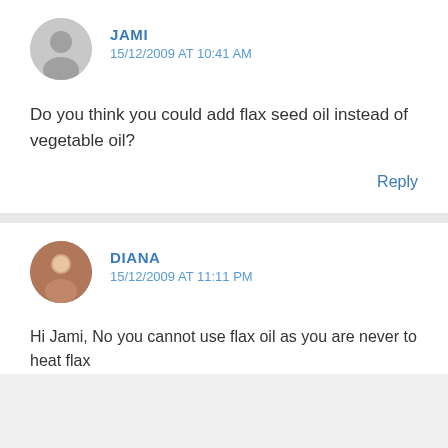JAMI
15/12/2009 AT 10:41 AM
Do you think you could add flax seed oil instead of vegetable oil?
Reply
DIANA
15/12/2009 AT 11:11 PM
Hi Jami, No you cannot use flax oil as you are never to heat flax